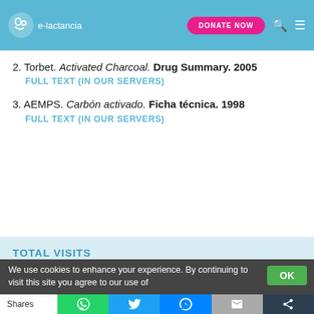e-lactancia | DONATE NOW
2. Torbet. Activated Charcoal. Drug Summary. 2005
FULL TEXT (IN OUR SERVERS)
3. AEMPS. Carbón activado. Ficha técnica. 1998
FULL TEXT (IN OUR SERVERS)
TOTAL VISITS
892
HELP US IMPROVE THIS ENTRY
Help us improve e-lactancia content with your suggestion or comment about the
We use cookies to enhance your experience. By continuing to visit this site you agree to our use of
Shares